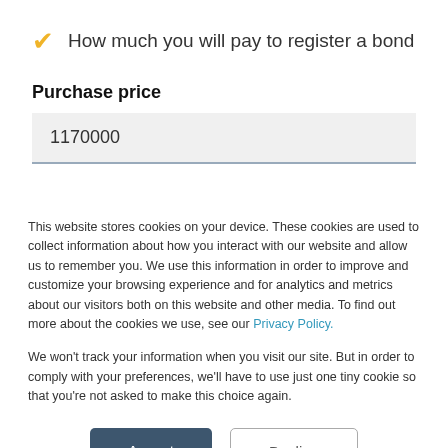How much you will pay to register a bond
Purchase price
1170000
This website stores cookies on your device. These cookies are used to collect information about how you interact with our website and allow us to remember you. We use this information in order to improve and customize your browsing experience and for analytics and metrics about our visitors both on this website and other media. To find out more about the cookies we use, see our Privacy Policy.
We won't track your information when you visit our site. But in order to comply with your preferences, we'll have to use just one tiny cookie so that you're not asked to make this choice again.
Accept
Decline